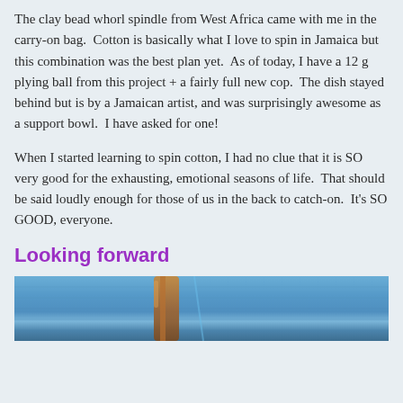The clay bead whorl spindle from West Africa came with me in the carry-on bag.  Cotton is basically what I love to spin in Jamaica but this combination was the best plan yet.  As of today, I have a 12 g plying ball from this project + a fairly full new cop.  The dish stayed behind but is by a Jamaican artist, and was surprisingly awesome as a support bowl.  I have asked for one!
When I started learning to spin cotton, I had no clue that it is SO very good for the exhausting, emotional seasons of life.  That should be said loudly enough for those of us in the back to catch-on.  It's SO GOOD, everyone.
Looking forward
[Figure (photo): Close-up photograph of denim fabric with what appears to be a spindle or fiber craft tool visible against a blue jeans background with brown/tan fiber elements.]